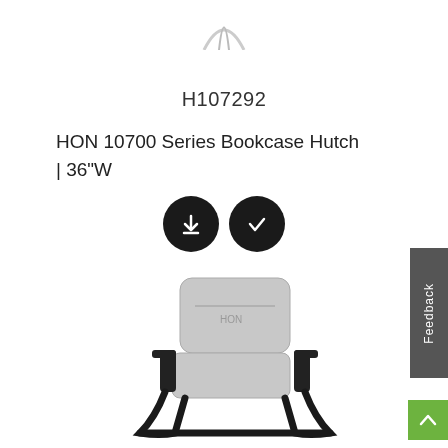[Figure (logo): Partial logo visible at the top center of the page]
H107292
HON 10700 Series Bookcase Hutch | 36"W
[Figure (other): Two black circular buttons: a download icon and a checkmark icon]
[Figure (photo): Office chair with gray upholstery and black metal sled base with armrests]
Feedback